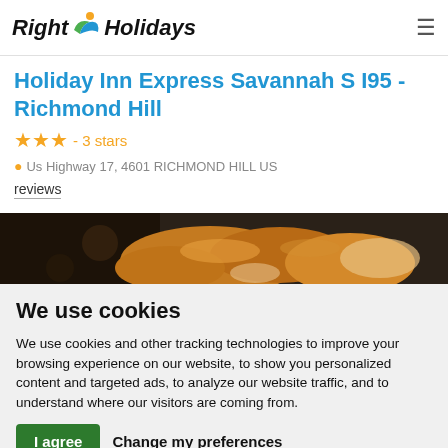Right Holidays
Holiday Inn Express Savannah S I95 - Richmond Hill
★★★ - 3 stars
Us Highway 17, 4601 RICHMOND HILL US
reviews
[Figure (photo): Close-up photo of food items, appears to show baked goods or pastries with a dark background]
We use cookies
We use cookies and other tracking technologies to improve your browsing experience on our website, to show you personalized content and targeted ads, to analyze our website traffic, and to understand where our visitors are coming from.
I agree   Change my preferences